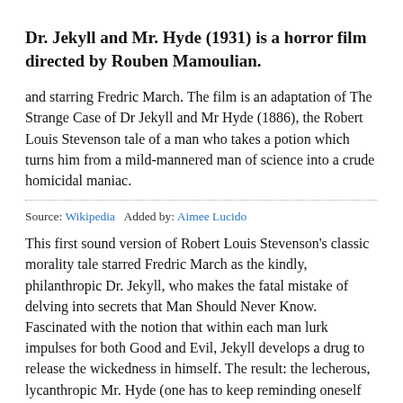Dr. Jekyll and Mr. Hyde (1931) is a horror film directed by Rouben Mamoulian.
and starring Fredric March. The film is an adaptation of The Strange Case of Dr Jekyll and Mr Hyde (1886), the Robert Louis Stevenson tale of a man who takes a potion which turns him from a mild-mannered man of science into a crude homicidal maniac.
Source: Wikipedia   Added by: Aimee Lucido
This first sound version of Robert Louis Stevenson's classic morality tale starred Fredric March as the kindly, philanthropic Dr. Jekyll, who makes the fatal mistake of delving into secrets that Man Should Never Know. Fascinated with the notion that within each man lurk impulses for both Good and Evil, Jekyll develops a drug to release the wickedness in himself. The result: the lecherous, lycanthropic Mr. Hyde (one has to keep reminding oneself that the handsome, soft-spoken March plays both roles; small wonder that he won the Academy Award). Jekyll is the honorable suitor of the virtuous Muriel Carew (Rose